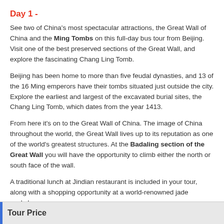Day 1 -
See two of China's most spectacular attractions, the Great Wall of China and the Ming Tombs on this full-day bus tour from Beijing. Visit one of the best preserved sections of the Great Wall, and explore the fascinating Chang Ling Tomb.
Beijing has been home to more than five feudal dynasties, and 13 of the 16 Ming emperors have their tombs situated just outside the city. Explore the earliest and largest of the excavated burial sites, the Chang Ling Tomb, which dates from the year 1413.
From here it's on to the Great Wall of China. The image of China throughout the world, the Great Wall lives up to its reputation as one of the world's greatest structures. At the Badaling section of the Great Wall you will have the opportunity to climb either the north or south face of the wall.
A traditional lunch at Jindian restaurant is included in your tour, along with a shopping opportunity at a world-renowned jade workshop.
Tour Price